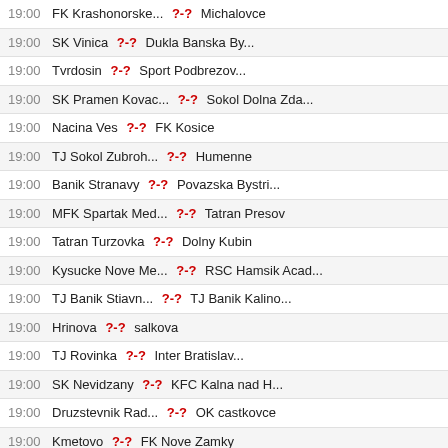19:00 FK Krashonorske... ?-? Michalovce
19:00 SK Vinica ?-? Dukla Banska By...
19:00 Tvrdosin ?-? Sport Podbrezov...
19:00 SK Pramen Kovac... ?-? Sokol Dolna Zda...
19:00 Nacina Ves ?-? FK Kosice
19:00 TJ Sokol Zubroh... ?-? Humenne
19:00 Banik Stranavy ?-? Povazska Bystri...
19:00 MFK Spartak Med... ?-? Tatran Presov
19:00 Tatran Turzovka ?-? Dolny Kubin
19:00 Kysucke Nove Me... ?-? RSC Hamsik Acad...
19:00 TJ Banik Stiavn... ?-? TJ Banik Kalino...
19:00 Hrinova ?-? salkova
19:00 TJ Rovinka ?-? Inter Bratislav...
19:00 SK Nevidzany ?-? KFC Kalna nad H...
19:00 Druzstevnik Rad... ?-? OK castkovce
19:00 Kmetovo ?-? FK Nove Zamky
19:00 Sokol Medzibrod ?-? Spisska Nova Ve...